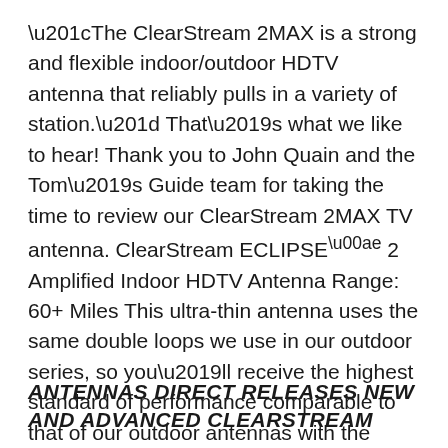“The ClearStream 2MAX is a strong and flexible indoor/outdoor HDTV antenna that reliably pulls in a variety of station.” That’s what we like to hear! Thank you to John Quain and the Tom’s Guide team for taking the time to review our ClearStream 2MAX TV antenna. ClearStream ECLIPSE® 2 Amplified Indoor HDTV Antenna Range: 60+ Miles This ultra-thin antenna uses the same double loops we use in our outdoor series, so you’ll receive the highest standard of performance comparable to that of our outdoor antennas with the ClearStream Eclipse 2 indoor antenna.
ANTENNAS DIRECT RELEASES NEW AND ADVANCED CLEARSTREAM